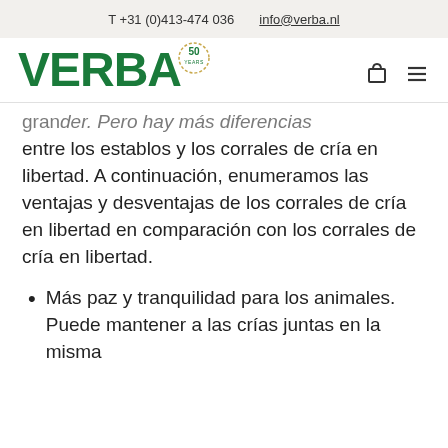T +31 (0)413-474 036   info@verba.nl
[Figure (logo): VERBA logo in bold green with a 50 YEARS anniversary badge, navigation icons (bag and hamburger menu)]
granders. Pero hay más diferencias entre los establos y los corrales de cría en libertad. A continuación, enumeramos las ventajas y desventajas de los corrales de cría en libertad en comparación con los corrales de cría en libertad.
Más paz y tranquilidad para los animales. Puede mantener a las crías juntas en la misma